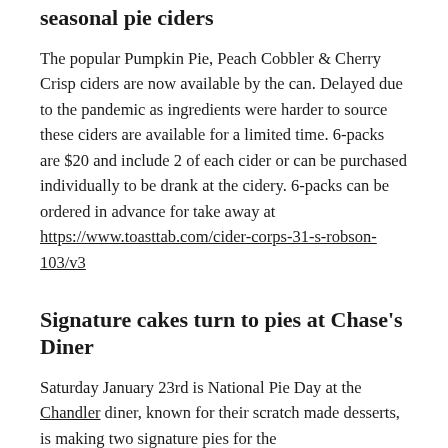seasonal pie ciders
The popular Pumpkin Pie, Peach Cobbler & Cherry Crisp ciders are now available by the can. Delayed due to the pandemic as ingredients were harder to source these ciders are available for a limited time. 6-packs are $20 and include 2 of each cider or can be purchased individually to be drank at the cidery. 6-packs can be ordered in advance for take away at https://www.toasttab.com/cider-corps-31-s-robson-103/v3
Signature cakes turn to pies at Chase's Diner
Saturday January 23rd is National Pie Day at the Chandler diner, known for their scratch made desserts, is making two signature pies for the